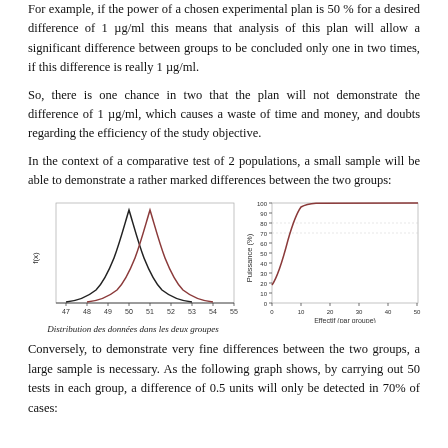For example, if the power of a chosen experimental plan is 50 % for a desired difference of 1 µg/ml this means that analysis of this plan will allow a significant difference between groups to be concluded only one in two times, if this difference is really 1 µg/ml.
So, there is one chance in two that the plan will not demonstrate the difference of 1 µg/ml, which causes a waste of time and money, and doubts regarding the efficiency of the study objective.
In the context of a comparative test of 2 populations, a small sample will be able to demonstrate a rather marked differences between the two groups:
[Figure (continuous-plot): Two overlapping bell-shaped distribution curves (one black, one brown/red) plotted on axes with x-axis ranging from 47 to 55 and y-axis labeled f(x). Caption: Distribution des données dans les deux groupes.]
[Figure (continuous-plot): Power curve (Puissance %) vs Effectif (par groupe). Y-axis 0-100, X-axis 0-50. The curve rises steeply and plateaus near 100% at around n=15.]
Conversely, to demonstrate very fine differences between the two groups, a large sample is necessary. As the following graph shows, by carrying out 50 tests in each group, a difference of 0.5 units will only be detected in 70% of cases: